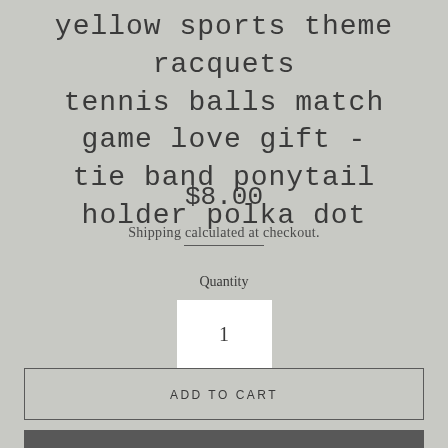yellow sports theme racquets tennis balls match game love gift - tie band ponytail holder polka dot
$8.00
Shipping calculated at checkout.
Quantity
1
ADD TO CART
BUY IT NOW